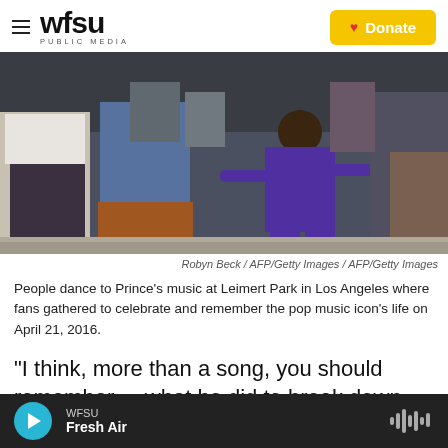wfsu PUBLIC MEDIA | Donate
[Figure (photo): People dancing at Leimert Park in Los Angeles. A young child in a purple outfit is dancing with arms outstretched, surrounded by adults.]
Robyn Beck / AFP/Getty Images / AFP/Getty Images
People dance to Prince's music at Leimert Park in Los Angeles where fans gathered to celebrate and remember the pop music icon's life on April 21, 2016.
"I think, more than a song, you should remember ... what he did to break down barriers. There are only
WFSU Fresh Air